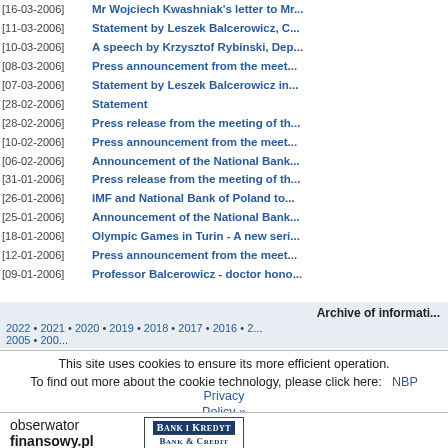[16-03-2006] Mr Wojciech Kwashniak's letter to Mr...
[11-03-2006] Statement by Leszek Balcerowicz, C...
[10-03-2006] A speech by Krzysztof Rybinski, Dep...
[08-03-2006] Press announcement from the meet...
[07-03-2006] Statement by Leszek Balcerowicz in...
[28-02-2006] Statement
[28-02-2006] Press release from the meeting of th...
[10-02-2006] Press announcement from the meet...
[06-02-2006] Announcement of the National Bank...
[31-01-2006] Press release from the meeting of th...
[26-01-2006] IMF and National Bank of Poland to...
[25-01-2006] Announcement of the National Bank...
[18-01-2006] Olympic Games in Turin - A new seri...
[12-01-2006] Press announcement from the meet...
[09-01-2006] Professor Balcerowicz - doctor hono...
Archive of informati...
2022 • 2021 • 2020 • 2019 • 2018 • 2017 • 2016 • 2... 2005 • 200...
This site uses cookies to ensure its more efficient operation.
To find out more about the cookie technology, please click here:
NBP Privacy Policy »
In order to browse through the content, it is necessary to accept cookies from this...
[Figure (logo): obserwator finansowy.pl logo]
[Figure (logo): Bank i Kredyt / Bank & Credit logo]